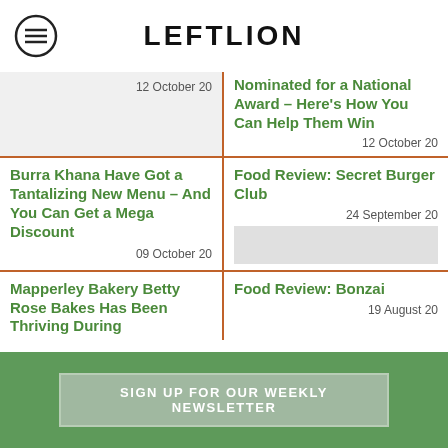LEFTLION
12 October 20
Nominated for a National Award – Here's How You Can Help Them Win
12 October 20
Burra Khana Have Got a Tantalizing New Menu – And You Can Get a Mega Discount
09 October 20
Food Review: Secret Burger Club
24 September 20
Mapperley Bakery Betty Rose Bakes Has Been Thriving During
Food Review: Bonzai
19 August 20
SIGN UP FOR OUR WEEKLY NEWSLETTER